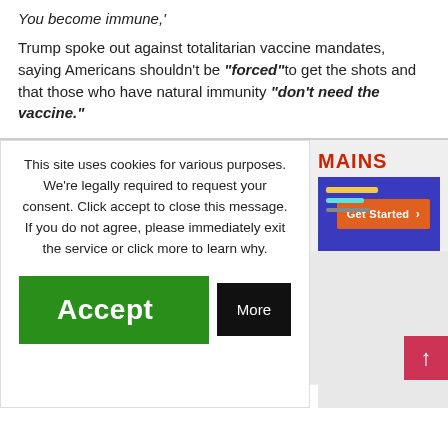You become immune,'
Trump spoke out against totalitarian vaccine mandates, saying Americans shouldn't be "forced" to get the shots and that those who have natural immunity "don't need the vaccine."
[Figure (screenshot): Cookie consent popup overlay on a webpage. Left panel shows a white box with text: 'This site uses cookies for various purposes. We're legally required to request your consent. Click accept to close this message. If you do not agree, please immediately exit the service or click more to learn why.' with green Accept button and black More button. Right panel shows partial webpage with 'MAINS' in red text, a blue advertisement banner with 'Get Started' orange button, and a pink/red scroll-to-top button with an upward arrow. Bottom shows partial italic text: 'If you get COVID, whatever you want to call it,']